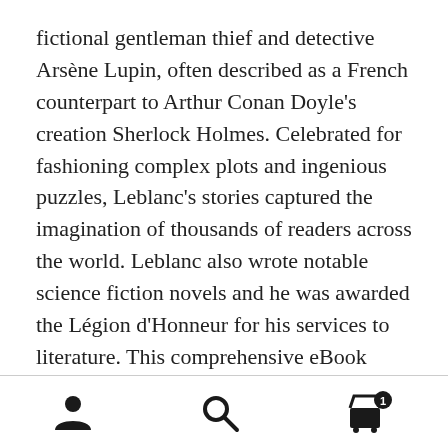fictional gentleman thief and detective Arsène Lupin, often described as a French counterpart to Arthur Conan Doyle's creation Sherlock Holmes. Celebrated for fashioning complex plots and ingenious puzzles, Leblanc's stories captured the imagination of thousands of readers across the world. Leblanc also wrote notable science fiction novels and he was awarded the Légion d'Honneur for his services to literature. This comprehensive eBook presents Leblanc's collected works, with numerous illustrations, rare texts appearing in digital print for the first time, informative introductions and the usual Delphi bonus material.
[Figure (other): Bottom navigation bar with three icons: a person/user icon on the left, a search magnifying glass icon in the center, and a shopping cart icon with a badge showing '1' on the right.]